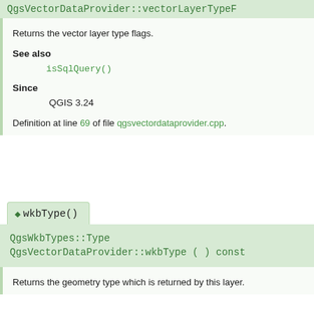QgsVectorDataProvider::vectorLayerTypeF...
Returns the vector layer type flags.
See also
isSqlQuery()
Since
QGIS 3.24
Definition at line 69 of file qgsvectordataprovider.cpp.
◆ wkbType()
QgsWkbTypes::Type QgsVectorDataProvider::wkbType ( ) const
Returns the geometry type which is returned by this layer.